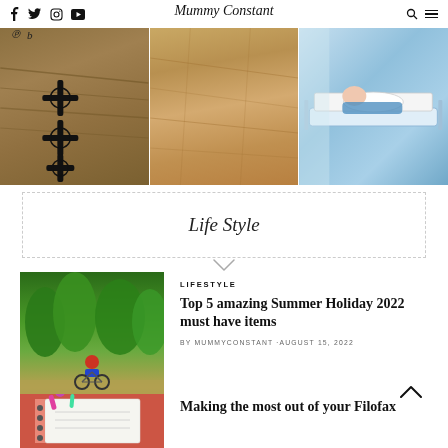Mummy Constant – social icons: Facebook, Twitter, Instagram, YouTube; search and menu icons
[Figure (photo): Three images in a row: close-up of wood and screws, wooden floor texture, child lying in hospital bed]
Life Style
[Figure (photo): Thumbnail of person on bicycle under trees]
LIFESTYLE
Top 5 amazing Summer Holiday 2022 must have items
BY MUMMYCONSTANT · AUGUST 15, 2022
[Figure (photo): Thumbnail of notebook/planner with colourful pens]
Making the most out of your Filofax